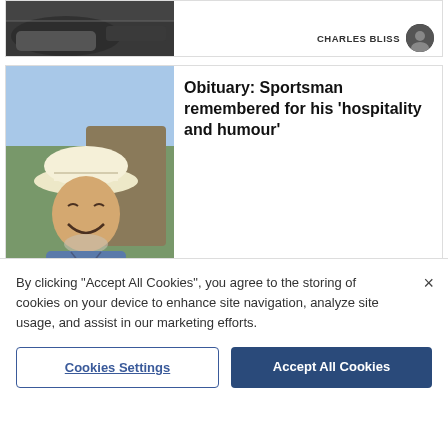[Figure (photo): Partial car/vehicle image at top, cropped article card with author CHARLES BLISS]
CHARLES BLISS
[Figure (photo): Photo of smiling elderly man wearing a white sun hat, outdoors]
Obituary: Sportsman remembered for his 'hospitality and humour'
DONNA-LOUISE BISHOP
[Figure (photo): Red Arrows aerobatic display team jets flying in formation against blue sky]
Where you will be able to see the Red Arrows over Norfolk today
CASEY COOPER-FISKE
By clicking "Accept All Cookies", you agree to the storing of cookies on your device to enhance site navigation, analyze site usage, and assist in our marketing efforts.
Cookies Settings
Accept All Cookies